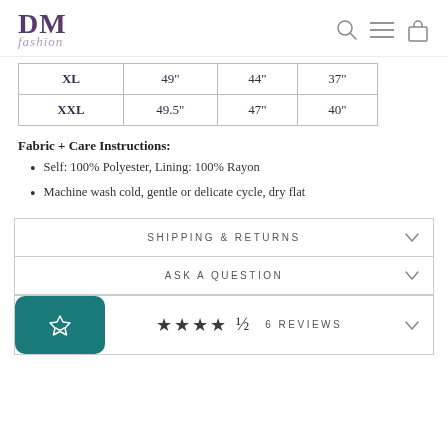DM fashion — with search, menu, cart icons
| XL | 49" | 44" | 37" |
| XXL | 49.5" | 47" | 40" |
Fabric + Care Instructions:
Self: 100% Polyester, Lining: 100% Rayon
Machine wash cold, gentle or delicate cycle, dry flat
SHIPPING & RETURNS
ASK A QUESTION
★★★★½ 6 REVIEWS